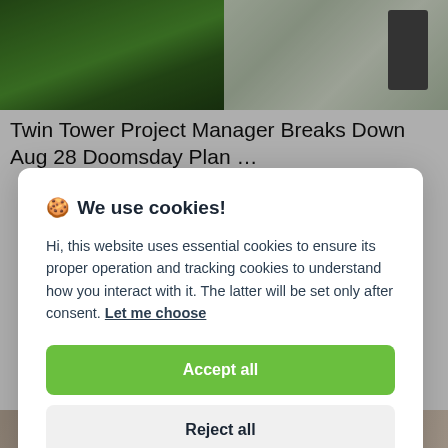[Figure (photo): Two side-by-side images: left shows green trees/foliage, right shows a person near electrical equipment]
Twin Tower Project Manager Breaks Down Aug 28 Doomsday Plan …
🍪 We use cookies!

Hi, this website uses essential cookies to ensure its proper operation and tracking cookies to understand how you interact with it. The latter will be set only after consent. Let me choose

[Accept all]
[Reject all]